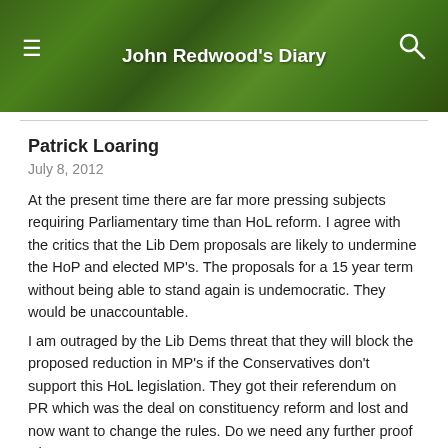John Redwood's Diary
Patrick Loaring
July 8, 2012
At the present time there are far more pressing subjects requiring Parliamentary time than HoL reform. I agree with the critics that the Lib Dem proposals are likely to undermine the HoP and elected MP's. The proposals for a 15 year term without being able to stand again is undemocratic. They would be unaccountable.
I am outraged by the Lib Dems threat that they will block the proposed reduction in MP's if the Conservatives don't support this HoL legislation. They got their referendum on PR which was the deal on constituency reform and lost and now want to change the rules. Do we need any further proof what a